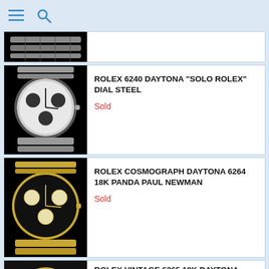Menu and Search navigation
[Figure (photo): Partial view of a Rolex watch on black background, showing bracelet and case bottom]
[Figure (photo): Rolex 6240 Daytona Solo Rolex Dial Steel watch with silver dial and sub-dials on metal bracelet]
ROLEX 6240 DAYTONA "SOLO ROLEX" DIAL STEEL
Sold
[Figure (photo): Rolex Cosmograph Daytona 6264 18K gold watch with black dial and cream sub-dials on gold bracelet]
ROLEX COSMOGRAPH DAYTONA 6264 18K PANDA PAUL NEWMAN
Sold
[Figure (photo): Partial view of Rolex Vintage 6265 18K Daytona watch]
ROLEX VINTAGE 6265 18K DAYTONA